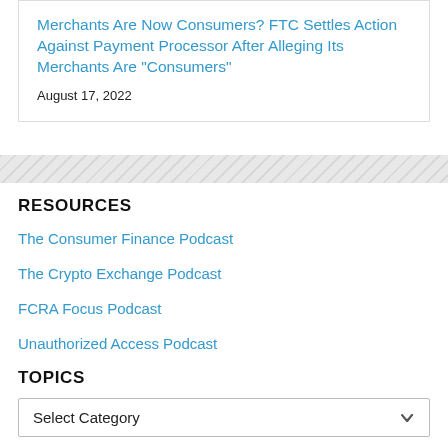Merchants Are Now Consumers? FTC Settles Action Against Payment Processor After Alleging Its Merchants Are "Consumers"
August 17, 2022
RESOURCES
The Consumer Finance Podcast
The Crypto Exchange Podcast
FCRA Focus Podcast
Unauthorized Access Podcast
TOPICS
Select Category